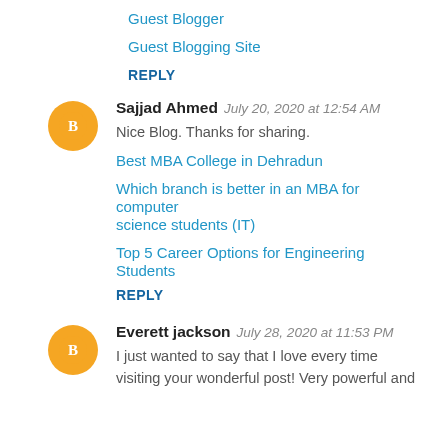Guest Blogger
Guest Blogging Site
REPLY
[Figure (illustration): Orange circle avatar with Blogger 'B' icon]
Sajjad Ahmed  July 20, 2020 at 12:54 AM
Nice Blog. Thanks for sharing.
Best MBA College in Dehradun
Which branch is better in an MBA for computer science students (IT)
Top 5 Career Options for Engineering Students
REPLY
[Figure (illustration): Orange circle avatar with Blogger 'B' icon]
Everett jackson  July 28, 2020 at 11:53 PM
I just wanted to say that I love every time visiting your wonderful post! Very powerful and